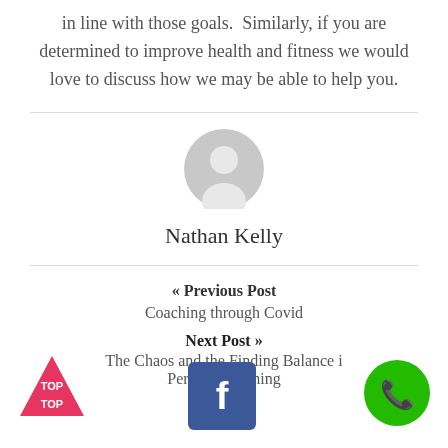in line with those goals. Similarly, if you are determined to improve health and fitness we would love to discuss how we may be able to help you.
[Figure (illustration): Generic grey user avatar icon (person silhouette in circle)]
Nathan Kelly
« Previous Post
Coaching through Covid
Next Post »
The Chaos and the ... Finding Balance ... Personal Training
[Figure (illustration): Red triangle TOP button in bottom left]
[Figure (illustration): Facebook icon blue square in bottom center]
[Figure (illustration): Green phone call button in bottom right]